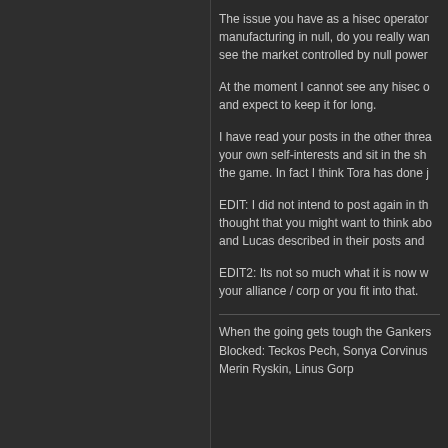The issue you have as a hisec operator manufacturing in null, do you really want to see the market controlled by null power...
At the moment I cannot see any hisec o... and expect to keep it for long.
I have read your posts in the other threa... your own self-interests and sit in the sh... the game. In fact I think Tora has done j...
EDIT: I did not intend to post again in th... thought that you might want to think abo... and Lucas described in their posts and...
EDIT2: Its not so much what it is now w... your alliance / corp or you fit into that.
When the going gets tough the Gankers... Blocked: Teckos Pech, Sonya Corvinus... Merin Ryskin, Linus Gorp
#448 - 2015-04-24 11:11:35 UTC